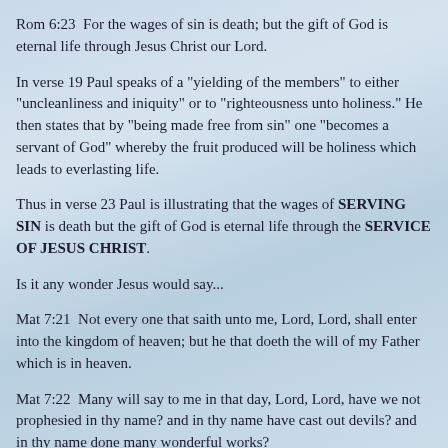Rom 6:23  For the wages of sin is death; but the gift of God is eternal life through Jesus Christ our Lord.
In verse 19 Paul speaks of a "yielding of the members" to either "uncleanliness and iniquity" or to "righteousness unto holiness." He then states that by "being made free from sin" one "becomes a servant of God" whereby the fruit produced will be holiness which leads to everlasting life.
Thus in verse 23 Paul is illustrating that the wages of SERVING SIN is death but the gift of God is eternal life through the SERVICE OF JESUS CHRIST.
Is it any wonder Jesus would say...
Mat 7:21  Not every one that saith unto me, Lord, Lord, shall enter into the kingdom of heaven; but he that doeth the will of my Father which is in heaven.
Mat 7:22  Many will say to me in that day, Lord, Lord, have we not prophesied in thy name? and in thy name have cast out devils? and in thy name done many wonderful works?
Mat 7:23  And then will I profess unto them, I never knew you: depart